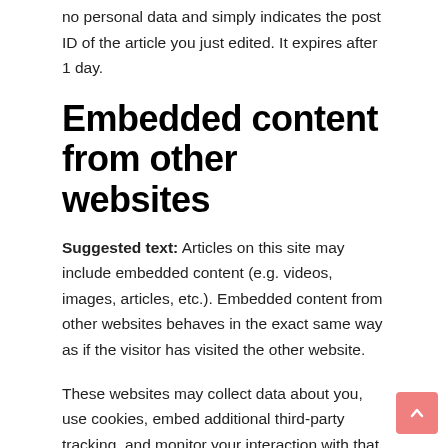no personal data and simply indicates the post ID of the article you just edited. It expires after 1 day.
Embedded content from other websites
Suggested text: Articles on this site may include embedded content (e.g. videos, images, articles, etc.). Embedded content from other websites behaves in the exact same way as if the visitor has visited the other website.
These websites may collect data about you, use cookies, embed additional third-party tracking, and monitor your interaction with that embedded content, including tracking your interaction with the embedded content if you have an account and are logged in to